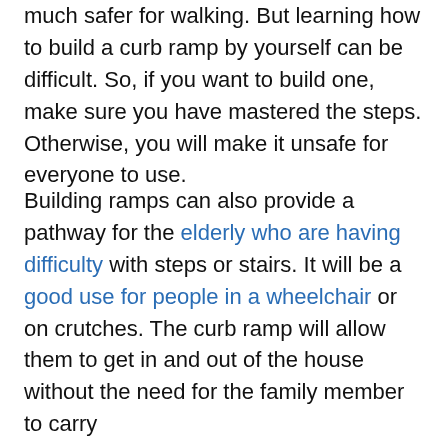much safer for walking. But learning how to build a curb ramp by yourself can be difficult. So, if you want to build one, make sure you have mastered the steps. Otherwise, you will make it unsafe for everyone to use.
Building ramps can also provide a pathway for the elderly who are having difficulty with steps or stairs. It will be a good use for people in a wheelchair or on crutches. The curb ramp will allow them to get in and out of the house without the need for the family member to carry